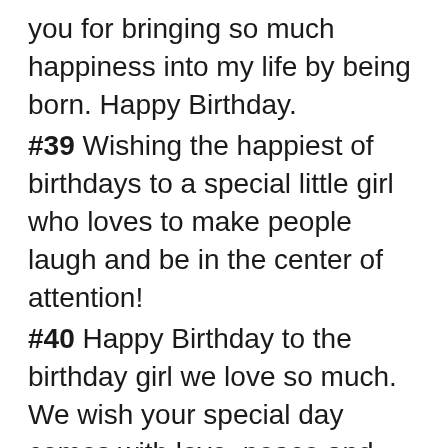you for bringing so much happiness into my life by being born. Happy Birthday.
#39 Wishing the happiest of birthdays to a special little girl who loves to make people laugh and be in the center of attention!
#40 Happy Birthday to the birthday girl we love so much. We wish your special day comes with love, peace and lots of laughter. Cheers!
#41 Happy 18th Birthday, dear friend. It's your time to enjoy being an adult now.
#42 Happy 13th birthday. I bet you got a few birthdays cards this year.